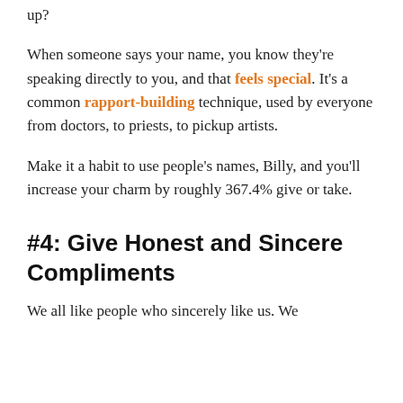up?
When someone says your name, you know they're speaking directly to you, and that feels special. It's a common rapport-building technique, used by everyone from doctors, to priests, to pickup artists.
Make it a habit to use people's names, Billy, and you'll increase your charm by roughly 367.4% give or take.
#4: Give Honest and Sincere Compliments
We all like people who sincerely like us. We